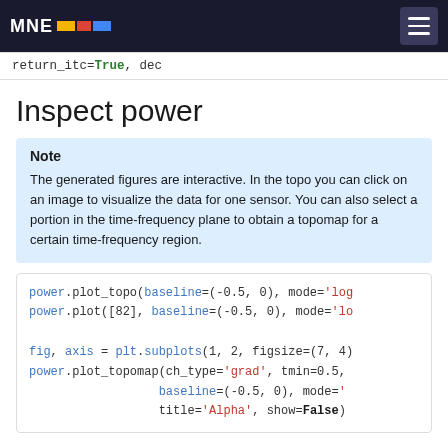MNE [logo]
return_itc=True, dec
Inspect power
Note
The generated figures are interactive. In the topo you can click on an image to visualize the data for one sensor. You can also select a portion in the time-frequency plane to obtain a topomap for a certain time-frequency region.
power.plot_topo(baseline=(-0.5, 0), mode='log
power.plot([82], baseline=(-0.5, 0), mode='lo

fig, axis = plt.subplots(1, 2, figsize=(7, 4)
power.plot_topomap(ch_type='grad', tmin=0.5,
                  baseline=(-0.5, 0), mode='
                  title='Alpha', show=False)